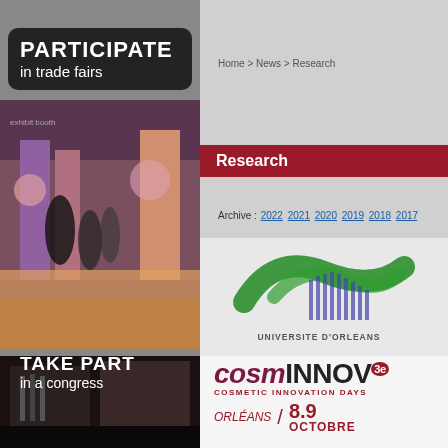[Figure (photo): Trade fair / exhibition hall photo with people walking among booths]
PARTICIPATE
in trade fairs
TAKE PART
in a congress
[Figure (photo): Congress building exterior photo]
Home > News > Research
Research
Archive : 2022 2021 2020 2019 2018 2017
[Figure (logo): Universite d'Orleans logo - green brushstroke with vertical lines]
[Figure (logo): COSMINNOV 3e - Cosmetic Innovation Days - 8.9 OCTOBRE - ORLEANS logo]